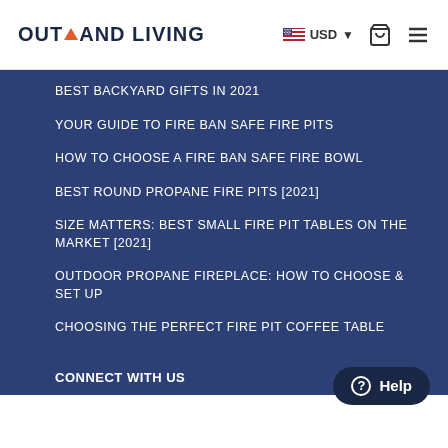OUTLAND LIVING | USD | Cart | Menu
BEST BACKYARD GIFTS IN 2021
YOUR GUIDE TO FIRE BAN SAFE FIRE PITS
HOW TO CHOOSE A FIRE BAN SAFE FIRE BOWL
BEST ROUND PROPANE FIRE PITS [2021]
SIZE MATTERS: BEST SMALL FIRE PIT TABLES ON THE MARKET [2021]
OUTDOOR PROPANE FIREPLACE: HOW TO CHOOSE & SET UP
CHOOSING THE PERFECT FIRE PIT COFFEE TABLE
CONNECT WITH US